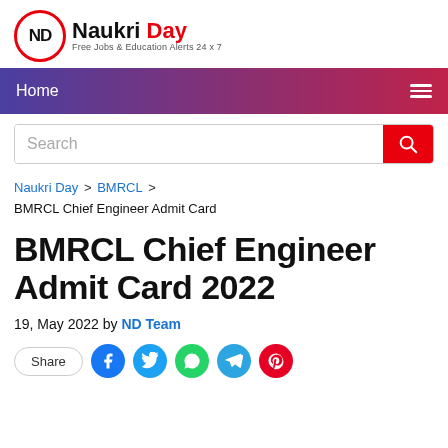[Figure (logo): Naukri Day logo with red circle containing ND initials and tagline 'Free Jobs & Education Alerts 24 x 7']
[Figure (screenshot): Navigation bar with gradient from purple to red, showing 'Home' link and hamburger menu icon]
[Figure (screenshot): Search bar with placeholder text 'Search' and red search button]
Naukri Day > BMRCL > BMRCL Chief Engineer Admit Card
BMRCL Chief Engineer Admit Card 2022
19, May 2022 by ND Team
[Figure (screenshot): Share button and social media icons: Facebook, Twitter, WhatsApp, Telegram, Pinterest]